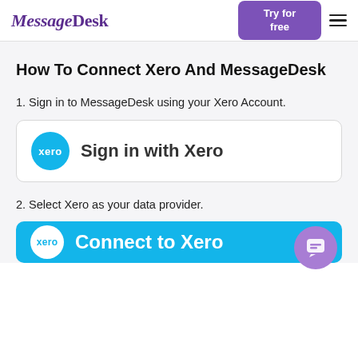MessageDesk | Try for free
How To Connect Xero And MessageDesk
1. Sign in to MessageDesk using your Xero Account.
[Figure (screenshot): Sign in with Xero button: teal circle with 'xero' text logo on left, 'Sign in with Xero' text on right, white rounded rectangle button with grey border]
2. Select Xero as your data provider.
[Figure (screenshot): Connect to Xero button: teal/cyan background, white circle with blue xero logo on left, 'Connect to Xero' white text on right. Purple chat bubble overlay in bottom right corner.]